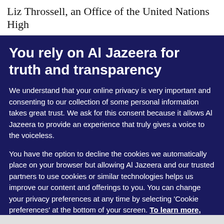Liz Throssell, an Office of the United Nations High
You rely on Al Jazeera for truth and transparency
We understand that your online privacy is very important and consenting to our collection of some personal information takes great trust. We ask for this consent because it allows Al Jazeera to provide an experience that truly gives a voice to the voiceless.
You have the option to decline the cookies we automatically place on your browser but allowing Al Jazeera and our trusted partners to use cookies or similar technologies helps us improve our content and offerings to you. You can change your privacy preferences at any time by selecting ‘Cookie preferences’ at the bottom of your screen. To learn more, please view our Cookie Policy.